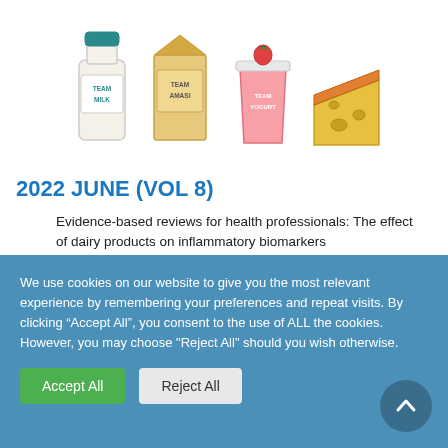[Figure (illustration): Four illustrated dairy product characters: a milk bottle labeled 'TEAM MILK', a carton labeled 'TEAM AMASI', a yogurt cup labeled 'TEAM YOGURT', and a block of cheese labeled 'TEAM CHEESE']
2022 JUNE (VOL 8)
Evidence-based reviews for health professionals: The effect of dairy products on inflammatory biomarkers
In the media:
We use cookies on our website to give you the most relevant experience by remembering your preferences and repeat visits. By clicking “Accept All”, you consent to the use of ALL the cookies. However, you may choose "Reject All" should you wish otherwise.